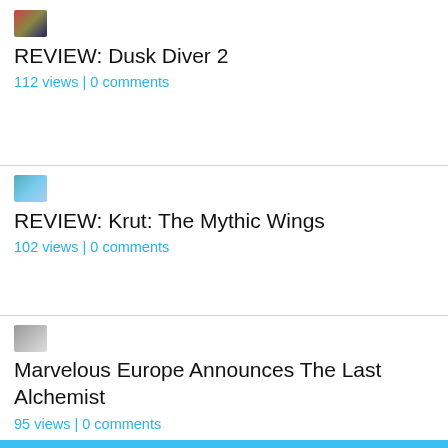[Figure (photo): Small thumbnail image for Dusk Diver 2 article]
REVIEW: Dusk Diver 2
112 views | 0 comments
[Figure (photo): Small thumbnail image for Krut: The Mythic Wings article]
REVIEW: Krut: The Mythic Wings
102 views | 0 comments
[Figure (photo): Small thumbnail image for Marvelous Europe article]
Marvelous Europe Announces The Last Alchemist
95 views | 0 comments
We are proudly a Play-Asia Partner
[Figure (logo): Play-Asia logo on dark blue background]